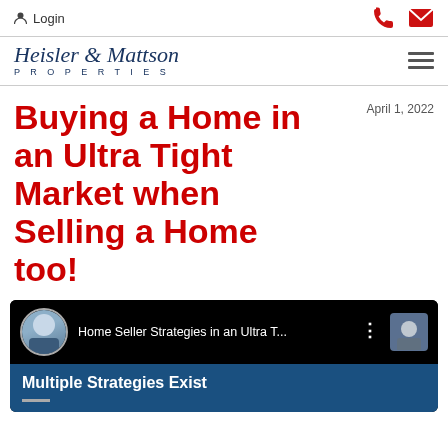Login
[Figure (logo): Heisler & Mattson Properties logo with navigation hamburger menu]
Buying a Home in an Ultra Tight Market when Selling a Home too!
April 1, 2022
[Figure (screenshot): Video thumbnail showing 'Home Seller Strategies in an Ultra T...' with speaker avatar and 'Multiple Strategies Exist' subtitle on dark blue background]